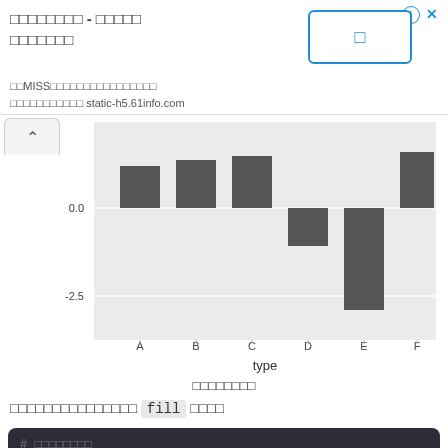[Figure (screenshot): Ad banner showing Japanese text title, a blue-bordered button with Japanese character, and URL text referencing MISS and static-h5.61info.com]
[Figure (bar-chart): Bar chart with type on x-axis]
図の説明テキスト
棒グラフのカラーパレットに fill を使う
# サンプルコード
p <- ggplot(data = my.df5, aes(x = type, y =
   geom_bar(stat = "identity")
p